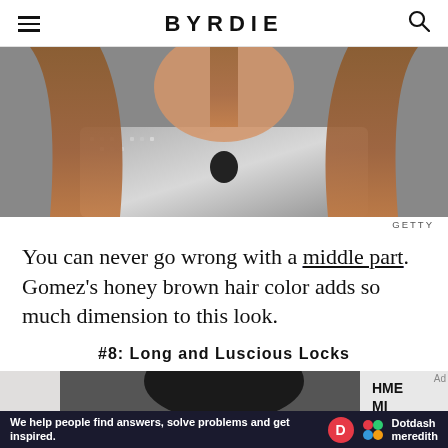BYRDIE
[Figure (photo): Close-up photo of a person with long honey brown hair wearing a silver sequined top, showing middle part hairstyle]
GETTY
You can never go wrong with a middle part. Gomez's honey brown hair color adds so much dimension to this look.
#8: Long and Luscious Locks
[Figure (photo): Person with long dark hair, partially visible, with AME event backdrop in background]
We help people find answers, solve problems and get inspired. Dotdash meredith